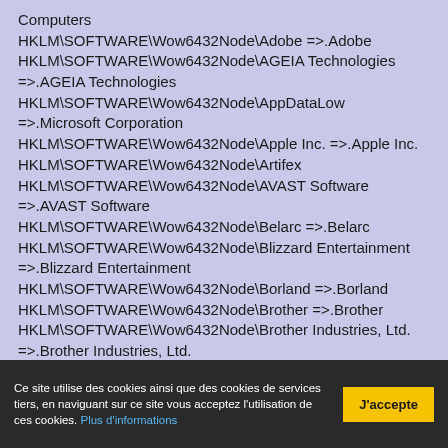Computers
HKLM\SOFTWARE\Wow6432Node\Adobe =>.Adobe
HKLM\SOFTWARE\Wow6432Node\AGEIA Technologies =>.AGEIA Technologies
HKLM\SOFTWARE\Wow6432Node\AppDataLow =>.Microsoft Corporation
HKLM\SOFTWARE\Wow6432Node\Apple Inc. =>.Apple Inc.
HKLM\SOFTWARE\Wow6432Node\Artifex
HKLM\SOFTWARE\Wow6432Node\AVAST Software =>.AVAST Software
HKLM\SOFTWARE\Wow6432Node\Belarc =>.Belarc
HKLM\SOFTWARE\Wow6432Node\Blizzard Entertainment =>.Blizzard Entertainment
HKLM\SOFTWARE\Wow6432Node\Borland =>.Borland
HKLM\SOFTWARE\Wow6432Node\Brother =>.Brother
HKLM\SOFTWARE\Wow6432Node\Brother Industries, Ltd. =>.Brother Industries, Ltd.
HKLM\SOFTWARE\Wow6432Node\Creative Labs =>.Creative Labs
Ce site utilise des cookies ainsi que des cookies de services tiers, en naviguant sur ce site vous acceptez l'utilisation de ces cookies. Plus d'informations